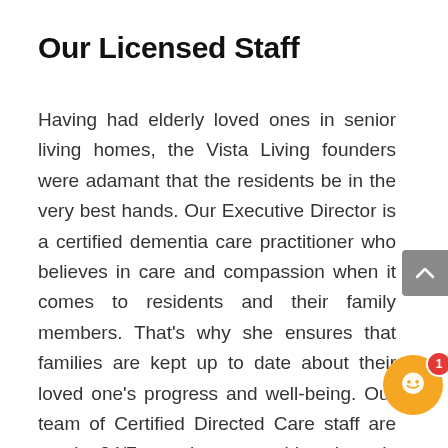Our Licensed Staff
Having had elderly loved ones in senior living homes, the Vista Living founders were adamant that the residents be in the very best hands. Our Executive Director is a certified dementia care practitioner who believes in care and compassion when it comes to residents and their family members. That's why she ensures that families are kept up to date about their loved one's progress and well-being. Our team of Certified Directed Care staff are on site 24/7 to make sure residents' needs are always attended to — and are well-trained to respond to any emergency. We also have a full-time nurse with extensive experience in dementia care communities on staff.
[Figure (other): Scroll-to-top button (grey rounded rectangle with upward chevron arrow) and chat widget button (orange circle with smiley face icon and red notification badge showing '1')]